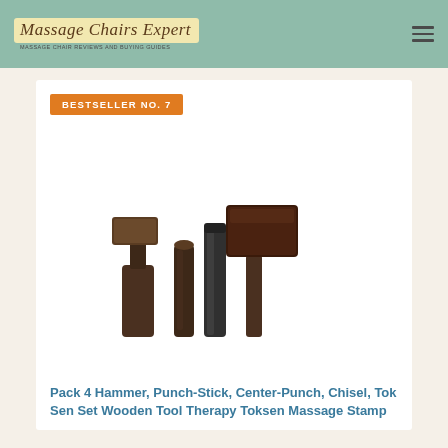Massage Chairs Expert
BESTSELLER NO. 7
[Figure (photo): Four dark brown wooden massage tools arranged side by side: a wide chisel/spatula tool, a narrow punch-stick, a cylindrical center-punch, and a large mallet/hammer with rectangular head. All tools are dark wood/metal colored on a white background.]
Pack 4 Hammer, Punch-Stick, Center-Punch, Chisel, Tok Sen Set Wooden Tool Therapy Toksen Massage Stamp